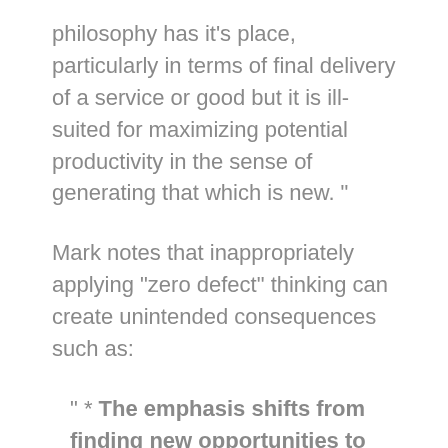philosophy has it's place, particularly in terms of final delivery of a service or good but it is ill-suited for maximizing potential productivity in the sense of generating that which is new. ”
Mark notes that inappropriately applying “zero defect” thinking can create unintended consequences such as:
“ * The emphasis shifts from finding new opportunities to not making mistakes: